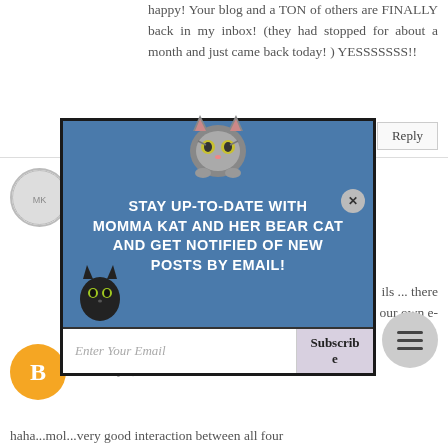happy! Your blog and a TON of others are FINALLY back in my inbox! (they had stopped for about a month and just came back today! ) YESSSSSSS!!
[Figure (infographic): Popup overlay with cat illustrations promoting email subscription for Momma Kat and Her Bear Cat blog. Contains a tabby cat peeking from top, a black cat at bottom left, blue background with white text 'STAY UP-TO-DATE WITH MOMMA KAT AND HER BEAR CAT AND GET NOTIFIED OF NEW POSTS BY EMAIL!', email input field and Subscribe button.]
ils ... there
our own e-
Shoko Neilson
February 6, 2018 at 4:39 PM
haha...mol...very good interaction between all four